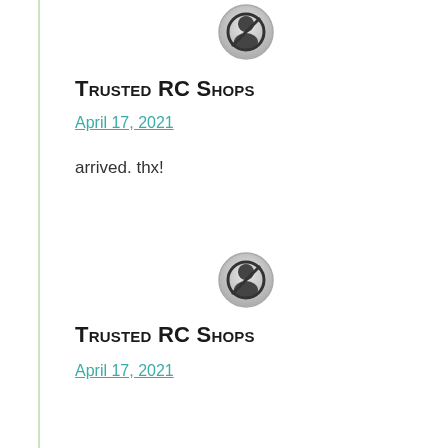[Figure (illustration): Circular avatar icon showing a generic user silhouette with a prohibited/no symbol overlay, gray gradient border]
Trusted RC Shops
April 17, 2021
arrived. thx!
[Figure (illustration): Circular avatar icon showing a generic user silhouette with a prohibited/no symbol overlay, gray gradient border]
Trusted RC Shops
April 17, 2021